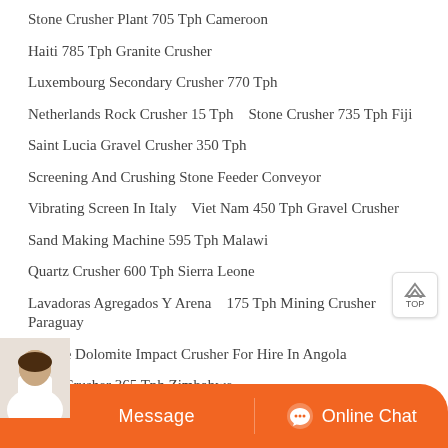Stone Crusher Plant 705 Tph Cameroon
Haiti 785 Tph Granite Crusher
Luxembourg Secondary Crusher 770 Tph
Netherlands Rock Crusher 15 Tph   Stone Crusher 735 Tph Fiji
Saint Lucia Gravel Crusher 350 Tph
Screening And Crushing Stone Feeder Conveyor
Vibrating Screen In Italy   Viet Nam 450 Tph Gravel Crusher
Sand Making Machine 595 Tph Malawi
Quartz Crusher 600 Tph Sierra Leone
Lavadoras Agregados Y Arena   175 Tph Mining Crusher Paraguay
Mobile Dolomite Impact Crusher For Hire In Angola
Cone Crusher 365 Tph Zimbabwe